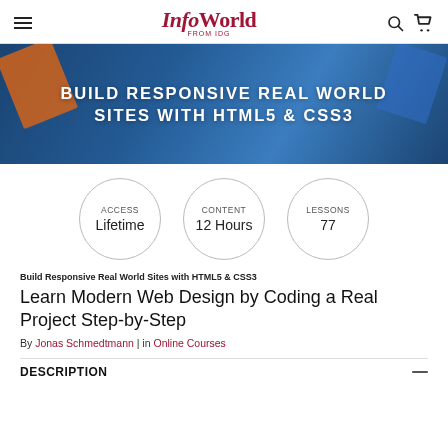InfoWorld FROM IDG
[Figure (illustration): Dark blue banner with decorative diagonal geometric shapes, white bold uppercase text: BUILD RESPONSIVE REAL WORLD SITES WITH HTML5 & CSS3]
[Figure (infographic): Three circular badges: ACCESS Lifetime | CONTENT 12 Hours | LESSONS 77]
Build Responsive Real World Sites with HTML5 & CSS3
Learn Modern Web Design by Coding a Real Project Step-by-Step
By Jonas Schmedtmann | in Online Courses
DESCRIPTION